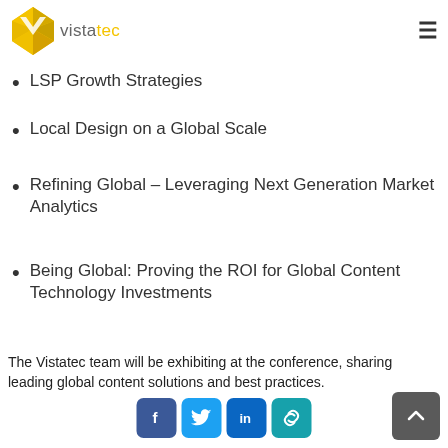vistatec
LSP Growth Strategies
Local Design on a Global Scale
Refining Global – Leveraging Next Generation Market Analytics
Being Global: Proving the ROI for Global Content Technology Investments
The Vistatec team will be exhibiting at the conference, sharing leading global content solutions and best practices.
[Figure (infographic): Social media share buttons: Facebook, Twitter, LinkedIn, and a chain/link icon]